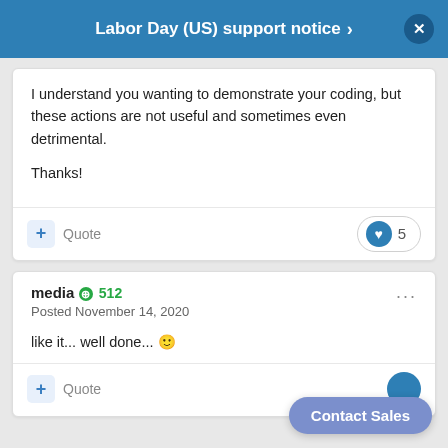Labor Day (US) support notice
I understand you wanting to demonstrate your coding, but these actions are not useful and sometimes even detrimental.

Thanks!
+ Quote   ♥ 5
media +512
Posted November 14, 2020
like it... well done... 🙂
+ Quote
Contact Sales